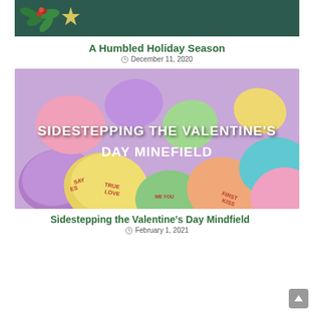[Figure (photo): Dark green banner with holly and flower decoration on the left side]
A Humbled Holiday Season
December 11, 2020
[Figure (photo): Colorful candy hearts scattered, with text overlay reading SIDESTEPPING THE VALENTINE'S DAY MINEFIELD]
Sidestepping the Valentine's Day Mindfield
February 1, 2021